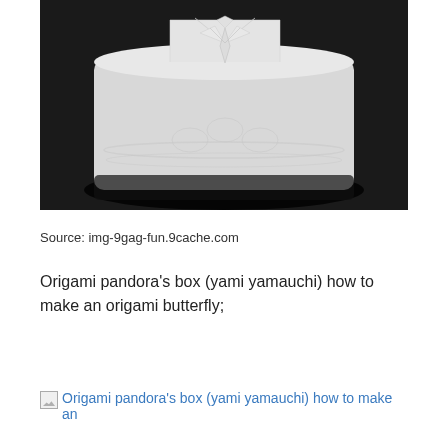[Figure (photo): A toilet paper roll with an origami butterfly or bird shape folded from the top sheet of paper, placed on a dark background]
Source: img-9gag-fun.9cache.com
Origami pandora's box (yami yamauchi) how to make an origami butterfly;
Origami pandora's box (yami yamauchi) how to make an